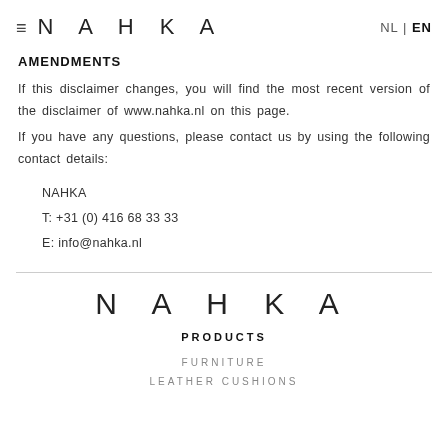≡  NAHKA   NL | EN
AMENDMENTS
If this disclaimer changes, you will find the most recent version of the disclaimer of www.nahka.nl on this page.
If you have any questions, please contact us by using the following contact details:
NAHKA
T: +31 (0) 416 68 33 33
E: info@nahka.nl
NAHKA
PRODUCTS
FURNITURE
LEATHER CUSHIONS